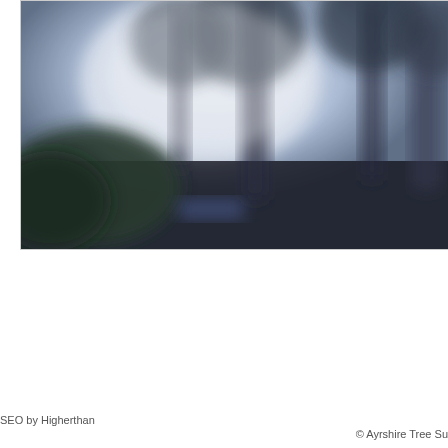[Figure (photo): Blurry outdoor photo showing tall trees with dark trunks silhouetted against a bright, hazy sky. The image is heavily blurred/defocused with dark green foliage at lower left and a dark foreground. A small rectangular sign or plaque is faintly visible in the center-lower portion of the image.]
SEO by Higherthan
© Ayrshire Tree Su